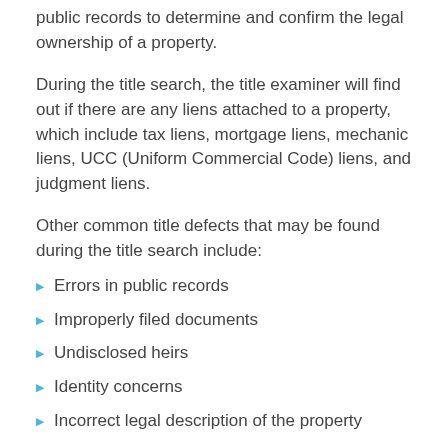public records to determine and confirm the legal ownership of a property.
During the title search, the title examiner will find out if there are any liens attached to a property, which include tax liens, mortgage liens, mechanic liens, UCC (Uniform Commercial Code) liens, and judgment liens.
Other common title defects that may be found during the title search include:
Errors in public records
Improperly filed documents
Undisclosed heirs
Identity concerns
Incorrect legal description of the property
Survey and boundary disputes